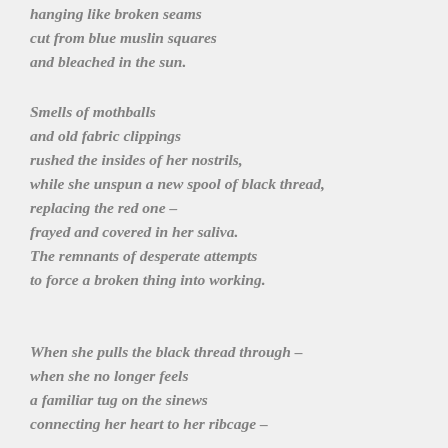hanging like broken seams
cut from blue muslin squares
and bleached in the sun.
Smells of mothballs
and old fabric clippings
rushed the insides of her nostrils,
while she unspun a new spool of black thread,
replacing the red one –
frayed and covered in her saliva.
The remnants of desperate attempts
to force a broken thing into working.
When she pulls the black thread through –
when she no longer feels
a familiar tug on the sinews
connecting her heart to her ribcage –